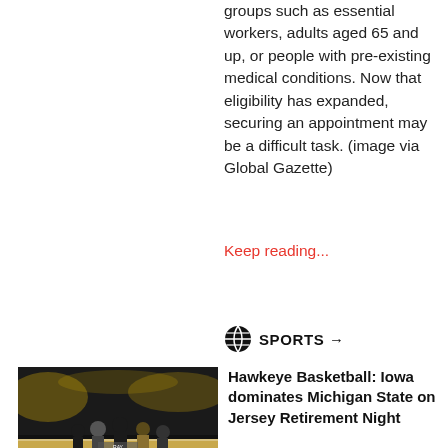groups such as essential workers, adults aged 65 and up, or people with pre-existing medical conditions. Now that eligibility has expanded, securing an appointment may be a difficult task. (image via Global Gazette)
Keep reading...
SPORTS →
[Figure (photo): Basketball court scene with several people standing on the court, appears to be a jersey retirement ceremony at a Hawkeye basketball game]
Hawkeye Basketball: Iowa dominates Michigan State on Jersey Retirement Night
Night with a dominating 86-60